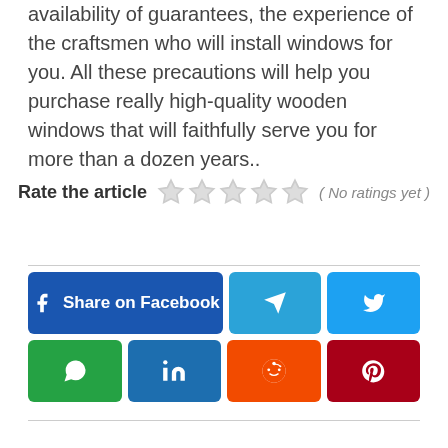availability of guarantees, the experience of the craftsmen who will install windows for you. All these precautions will help you purchase really high-quality wooden windows that will faithfully serve you for more than a dozen years..
Rate the article ★★★★★ ( No ratings yet )
[Figure (infographic): Social media share buttons: Share on Facebook (blue), Telegram (blue), Twitter (light blue), WhatsApp (green), LinkedIn (dark blue), Reddit (orange), Pinterest (dark red)]